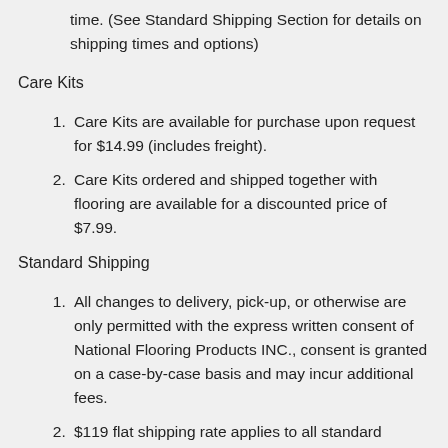time. (See Standard Shipping Section for details on shipping times and options)
Care Kits
Care Kits are available for purchase upon request for $14.99 (includes freight).
Care Kits ordered and shipped together with flooring are available for a discounted price of $7.99.
Standard Shipping
All changes to delivery, pick-up, or otherwise are only permitted with the express written consent of National Flooring Products INC., consent is granted on a case-by-case basis and may incur additional fees.
$119 flat shipping rate applies to all standard